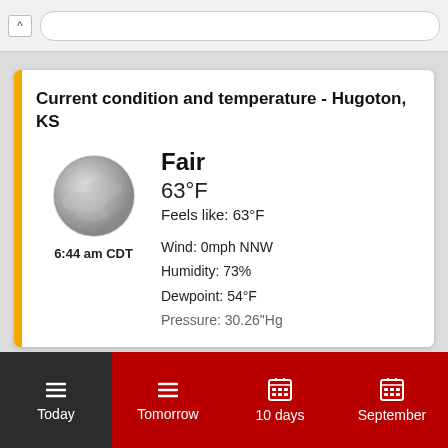[Figure (screenshot): Browser chrome with back arrow and address bar]
Current condition and temperature - Hugoton, KS
[Figure (illustration): Moon/fair weather icon (gray sphere with cloud texture), showing fair weather condition at 6:44 am CDT]
Fair
63°F
Feels like: 63°F
Wind: 0mph NNW
Humidity: 73%
Dewpoint: 54°F
Pressure: 30.26"Hg
Today  Tomorrow  10 days  September